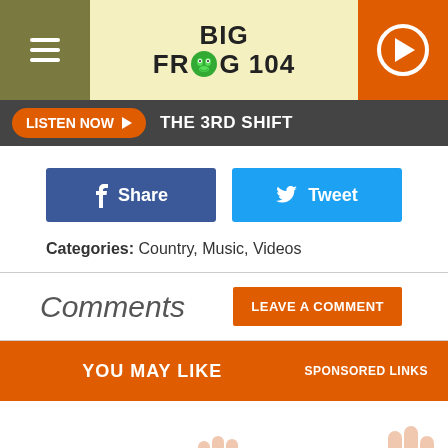[Figure (logo): Big Frog 104 radio station logo with hamburger menu on left and play button on right]
LISTEN NOW ▶  THE 3RD SHIFT
f Share   🐦 Tweet
Categories: Country, Music, Videos
Comments
LEAVE A COMMENT
YOU MAY LIKE  SPONSORED LINKS
[Figure (illustration): Bottom portion showing partial illustrations/images for sponsored content]